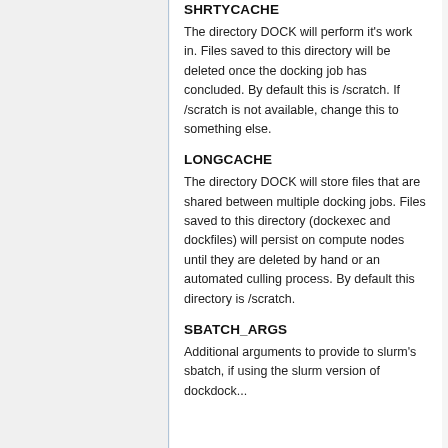SHRTYCACHE
The directory DOCK will perform it's work in. Files saved to this directory will be deleted once the docking job has concluded. By default this is /scratch. If /scratch is not available, change this to something else.
LONGCACHE
The directory DOCK will store files that are shared between multiple docking jobs. Files saved to this directory (dockexec and dockfiles) will persist on compute nodes until they are deleted by hand or an automated culling process. By default this directory is /scratch.
SBATCH_ARGS
Additional arguments to provide to slurm's sbatch, if using the slurm version of dockdock...